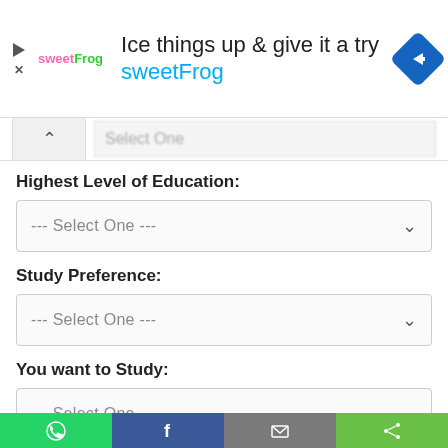[Figure (screenshot): SweetFrog advertisement banner with logo, headline 'Ice things up & give it a try sweetFrog', and navigation icon]
Select One
Highest Level of Education:
--- Select One ---
Study Preference:
--- Select One ---
You want to Study:
--- Select One ---
Need an education loan?
Yes
No